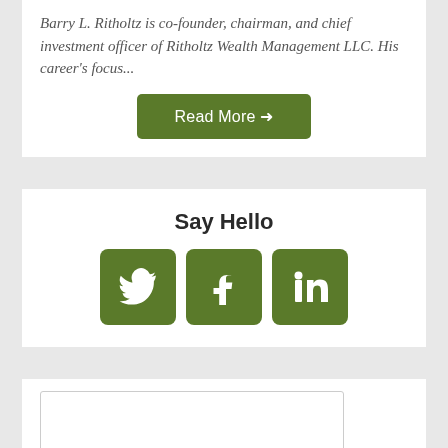Barry L. Ritholtz is co-founder, chairman, and chief investment officer of Ritholtz Wealth Management LLC. His career's focus...
Read More →
Say Hello
[Figure (other): Three social media icon buttons (Twitter bird, Facebook f, LinkedIn in) in green rounded squares]
[Figure (other): Empty white rectangular search/input box with border]